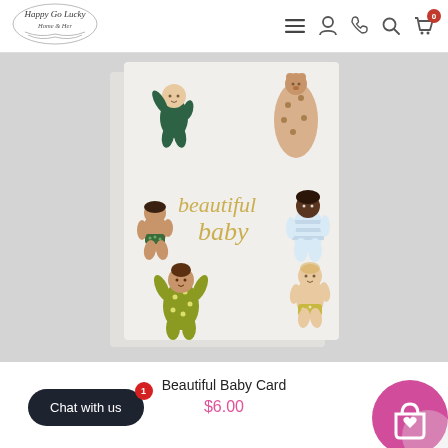Happy Go Lucky Home & Her — navigation header with logo, menu, account, phone, search, and cart icons
[Figure (photo): Product photo of 'Beautiful Baby Card' — a greeting card illustrated with diverse babies in various outfits with gold foil text reading 'beautiful baby', shown against a light gray background]
Beautiful Baby Card
$6.00
Chat with us